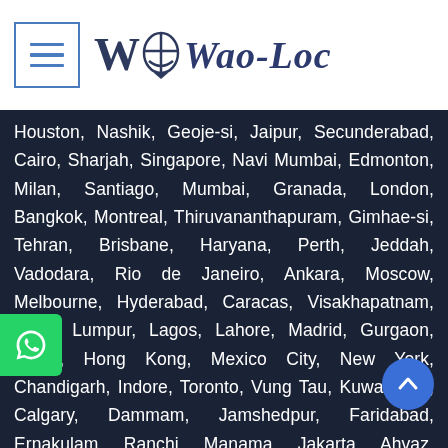[Figure (logo): Wao-Loc website logo with hamburger menu icon on the left and the Wao-Loc brand name with a 'W' letter and stylized icon]
Houston, Nashik, Geoje-si, Jaipur, Secunderabad, Cairo, Sharjah, Singapore, Navi Mumbai, Edmonton, Milan, Santiago, Mumbai, Granada, London, Bangkok, Montreal, Thiruvananthapuram, Gimhae-si, Tehran, Brisbane, Haryana, Perth, Jeddah, Vadodara, Rio de Janeiro, Ankara, Moscow, Melbourne, Hyderabad, Caracas, Visakhapatnam, Kuala Lumpur, Lagos, Lahore, Madrid, Gurgaon, Seoul, Hong Kong, Mexico City, New York, Chandigarh, Indore, Toronto, Vung Tau, Kuwait City, Calgary, Dammam, Jamshedpur, Faridabad, Ernakulam, Ranchi, Manama, Jakarta, Ahvaz, Bhopal, Chiyoda, Coimbatore, Howrah, Pimpri Chinchwad, Nagpur, Aberdeen, Ludhiana, Riyadh, Hanoi, Pune, Chennai, La Victoria, Noida, Baroda,